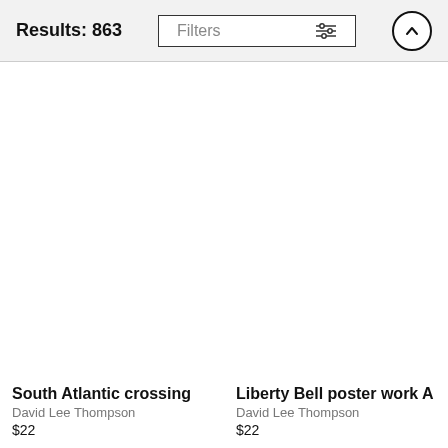Results: 863
Filters
South Atlantic crossing
David Lee Thompson
$22
Liberty Bell poster work A
David Lee Thompson
$22